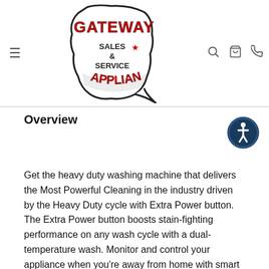[Figure (logo): Gateway Appliance Sales & Service logo — text on Iowa state shape outline with red lettering for GATEWAY and APPLIANCE, black text for SALES & SERVICE]
Overview
Get the heavy duty washing machine that delivers the Most Powerful Cleaning in the industry driven by the Heavy Duty cycle with Extra Power button. The Extra Power button boosts stain-fighting performance on any wash cycle with a dual-temperature wash. Monitor and control your appliance when you're away from home with smart washing machine features. And with the 24-Hr Fresh Hold® option, Maytag helps keep clean clothes smelling fresh for up to 24 hours after wash cycles